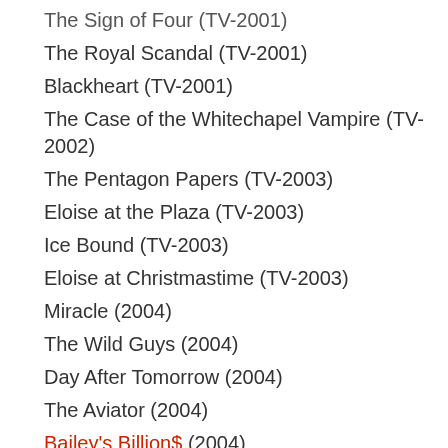The Sign of Four (TV-2001)
The Royal Scandal (TV-2001)
Blackheart (TV-2001)
The Case of the Whitechapel Vampire (TV-2002)
The Pentagon Papers (TV-2003)
Eloise at the Plaza (TV-2003)
Ice Bound (TV-2003)
Eloise at Christmastime (TV-2003)
Miracle (2004)
The Wild Guys (2004)
Day After Tomorrow (2004)
The Aviator (2004)
Bailey's Billion$ (2004)
Our Fathers (TV-2005)
Four Brothers (2005)
The Fog (2005)
Category 7: The End of the World (TV-